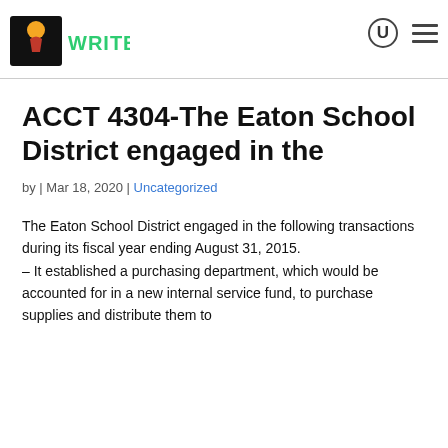WRITERS [logo with navigation icons]
ACCT 4304-The Eaton School District engaged in the
by | Mar 18, 2020 | Uncategorized
The Eaton School District engaged in the following transactions during its fiscal year ending August 31, 2015.
– It established a purchasing department, which would be accounted for in a new internal service fund, to purchase supplies and distribute them to